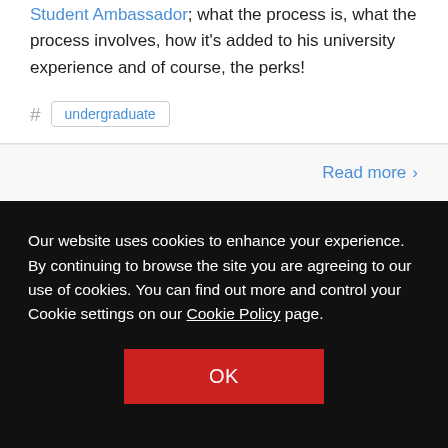Roberto, an English Language graduate, talks all things Student Ambassador; what the process is, what the process involves, how it's added to his university experience and of course, the perks!
# undergraduate
Read more ›
Our website uses cookies to enhance your experience. By continuing to browse the site you are agreeing to our use of cookies. You can find out more and control your Cookie settings on our Cookie Policy page.
OK